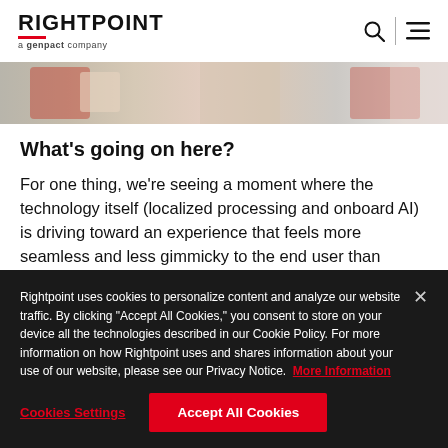RIGHTPOINT a genpact company
[Figure (photo): Partial hero image strip showing colorful decorative image]
What's going on here?
For one thing, we're seeing a moment where the technology itself (localized processing and onboard AI) is driving toward an experience that feels more seamless and less gimmicky to the end user than previous iterations
Rightpoint uses cookies to personalize content and analyze our website traffic. By clicking "Accept All Cookies," you consent to store on your device all the technologies described in our Cookie Policy. For more information on how Rightpoint uses and shares information about your use of our website, please see our Privacy Notice. More Information